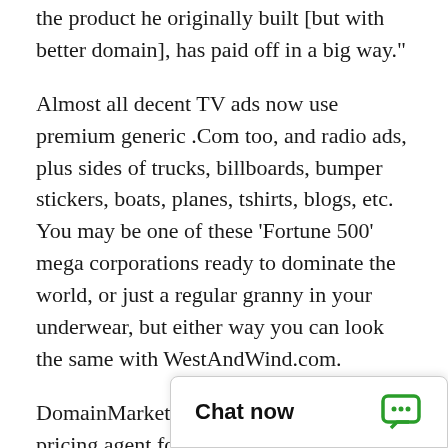the product he originally built [but with better domain], has paid off in a big way."
Almost all decent TV ads now use premium generic .Com too, and radio ads, plus sides of trucks, billboards, bumper stickers, boats, planes, tshirts, blogs, etc. You may be one of these 'Fortune 500' mega corporations ready to dominate the world, or just a regular granny in your underwear, but either way you can look the same with WestAndWind.com.
DomainMarket.com is the only authorized pricing agent for this domain name, anyone else is a third party seller. Every domain price on this site is completed by top world experts from AccurateAppraisals.com.
It's critical to secure y...